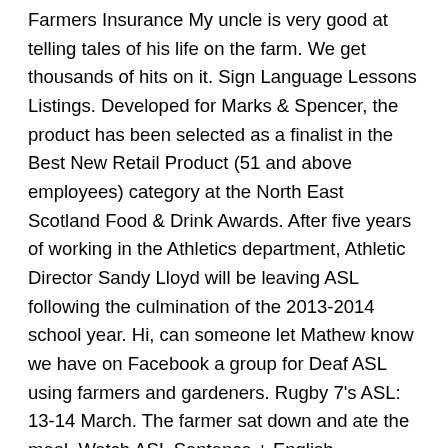Farmers Insurance My uncle is very good at telling tales of his life on the farm. We get thousands of hits on it. Sign Language Lessons Listings. Developed for Marks & Spencer, the product has been selected as a finalist in the Best New Retail Product (51 and above employees) category at the North East Scotland Food & Drink Awards. After five years of working in the Athletics department, Athletic Director Sandy Lloyd will be leaving ASL following the culmination of the 2013-2014 school year. Hi, can someone let Mathew know we have on Facebook a group for Deaf ASL using farmers and gardeners. Rugby 7's ASL: 13-14 March. The farmer sat down and ate the meal. Watch ASL Sentence + English Sentence. Life of a farmer. Essay topics on food and nutrition. Indian farmers always wake up very early in the morning and they also sleep after the set of the sun. Start by signing farm,start with your ... The condition of farmers in India is critical. I've gone through and updated it to be current in 2017 and reposted it. You Can Learn Sign Language in 30 Minutes! Defiance Clinic, Audiology and Hearing Aids. But still, a farmer is deprived of